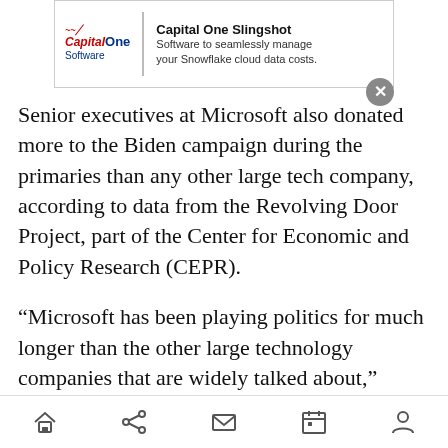[Figure (screenshot): Capital One Software advertisement banner showing logo, vertical red divider, and text: 'Capital One Slingshot — Software to seamlessly manage your Snowflake cloud data costs.' with a close (X) button.]
Senior executives at Microsoft also donated more to the Biden campaign during the primaries than any other large tech company, according to data from the Revolving Door Project, part of the Center for Economic and Policy Research (CEPR).
“Microsoft has been playing politics for much longer than the other large technology companies that are widely talked about,” CEPR researcher Max Moran said, adding that it has been around longer than most U.S. tech companies.
“It knows how to play the game on both sides of the aisle,” he added.
Home | Share | Mail | Calendar | Profile